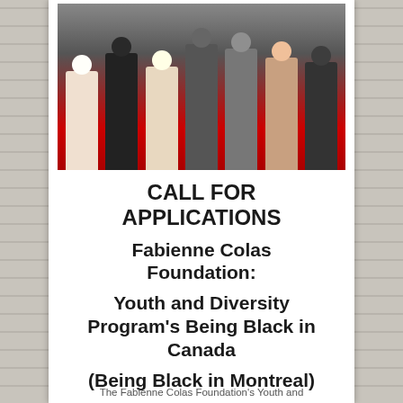[Figure (photo): Group photo of diverse young people standing together in front of a red carpet backdrop]
CALL FOR APPLICATIONS
Fabienne Colas Foundation:
Youth and Diversity Program's Being Black in Canada
(Being Black in Montreal)
The Fabienne Colas Foundation's Youth and